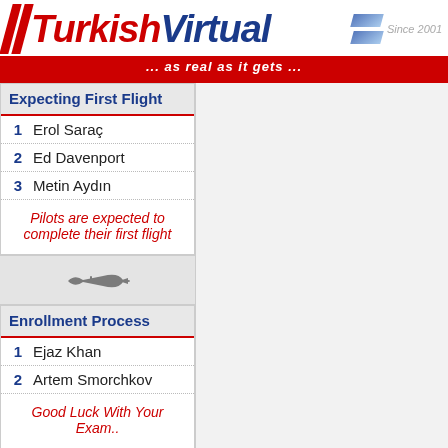Turkish Virtual ... as real as it gets ... Since 2001
Expecting First Flight
1 Erol Saraç
2 Ed Davenport
3 Metin Aydın
Pilots are expected to complete their first flight
[Figure (illustration): Small airplane silhouette icon]
Enrollment Process
1 Ejaz Khan
2 Artem Smorchkov
Good Luck With Your Exam..
[Figure (illustration): Small airplane silhouette icon]